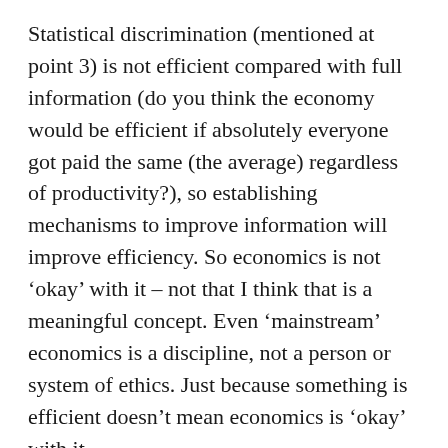Statistical discrimination (mentioned at point 3) is not efficient compared with full information (do you think the economy would be efficient if absolutely everyone got paid the same (the average) regardless of productivity?), so establishing mechanisms to improve information will improve efficiency. So economics is not ‘okay’ with it – not that I think that is a meaningful concept. Even ‘mainstream’ economics is a discipline, not a person or system of ethics. Just because something is efficient doesn’t mean economics is ‘okay’ with it.
More generally, the problem with your economic approach is that racism is very much about people’s preferences, and standard